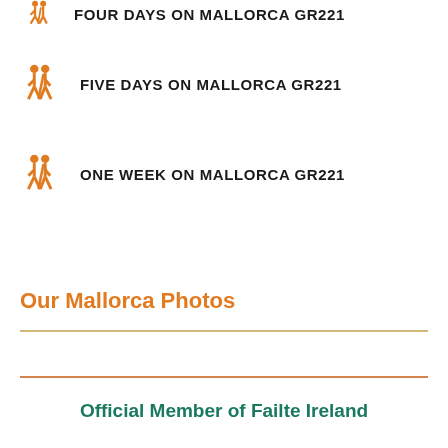FOUR DAYS ON MALLORCA GR221
FIVE DAYS ON MALLORCA GR221
ONE WEEK ON MALLORCA GR221
Our Mallorca Photos
Official Member of Failte Ireland